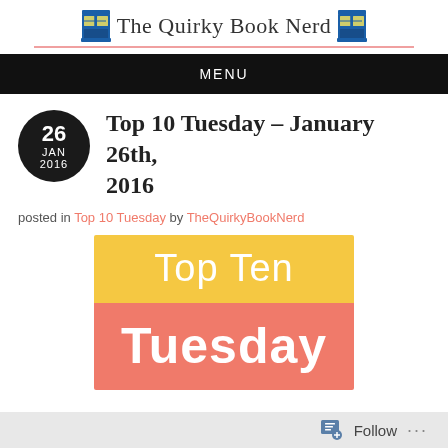The Quirky Book Nerd
MENU
Top 10 Tuesday – January 26th, 2016
posted in Top 10 Tuesday by TheQuirkyBookNerd
[Figure (illustration): Top Ten Tuesday graphic with yellow top half reading 'Top Ten' and salmon/coral bottom half reading 'Tuesday' in white bold text]
Follow ...